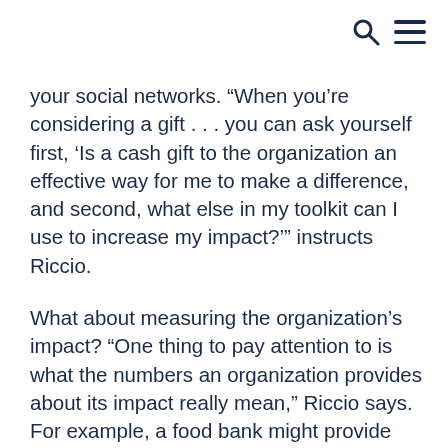[search icon] [menu icon]
your social networks. “When you’re considering a gift . . . you can ask yourself first, ‘Is a cash gift to the organization an effective way for me to make a difference, and second, what else in my toolkit can I use to increase my impact?’” instructs Riccio.
What about measuring the organization’s impact? “One thing to pay attention to is what the numbers an organization provides about its impact really mean,” Riccio says. For example, a food bank might provide information about how many people it serves or how many pounds of food it provides, but “they won’t necessarily tell you whether the food